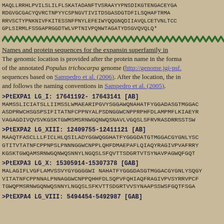MAQLLRRHLPVILSLILFLSKATADANFTVSRAAYYPNSDIKGTENGACEYGA
RDGVGCGACYQVRCTNPYYCSPNGVTIVITDSGASDGTDFILSQHAFTRMA
RRVSCTYPNKNIVFKITESSNFPNYLEFEIWYQQGNQDIIAVQLCETVNLTCC
GPLSIRMLFSSGAPRGGDTWLVPTNIVPQNWTAGATYDSGVQVQLQ*
[Figure (illustration): Green decorative wavy/zigzag divider line]
Names and protein sequences for the expansin superfamily in
The genomic location is provided after the protein name in the forma of the annotated Populus trichocarpa genome (http://genome.jgi-psf. sequences based on Sampedro et al. (2006). After the location, the in and follows the naming conventions in Sampedro et al. (2005).
>PtEXPA1 LG_I: 17641192- 17643141 [AB]
MAMSSLICIATSLLIIMSSLWMAEARIPGVYSGGAWQNAHATFYGGADASGTMGGA
ASDPRWCHSGSPSIFITATNFCPPNYALPSDNGGWCNPPRPHFDLAMPMFLKIAEYP
VAGAGDIVQVSVKGSKTGWMSMSRNWGQNWQSNAVLVGQSLSFRVRASDRRSSTSW
>PtEXPA2 LG_XIII: 12409755-12411121 [AB]
MAATFASCLLLFICLHLQSILADYGGWQGGHATFYGGGDATGTMGGACGYGNLYSC
GTITVTATNFCPPNPSLPNNNGGWCNPPLQHFDMAEPAFLQIAQYRAGIVPVAFRRV
KGSKTGWQAMSRNWGQNWQSNNYLNGQSLSFQVTTSDGRTVTSYNAVPAGWQFGQT
>PtEXPA3 LG_X: 15305914-15307378 [GAB]
MALAGIFLVGFLAMVSSVYGYGGGGGWINAHATFYGGGDASGTMGGACGYGNLYSQGY
VITATNFCPPNNALPNNAGGWCNPPQHHFDLSQPVFQHIAQFRAGIVPVSYRRVPCF
TGWQPMSRNWGQNWQSNNYLNGQSLSFKVTTSDGRTVVSYNAAPSSWSFGQTFSGA
>PtEXPA4 LG_VIII: 5494454-5492987 [GAB]